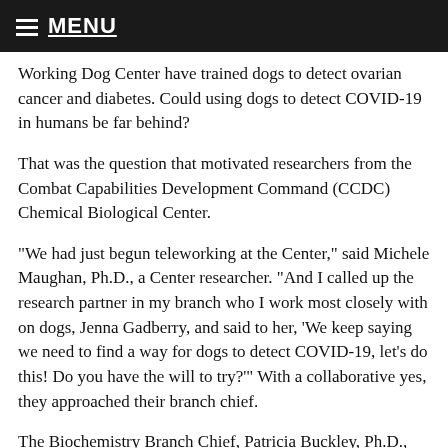MENU
Working Dog Center have trained dogs to detect ovarian cancer and diabetes. Could using dogs to detect COVID-19 in humans be far behind?
That was the question that motivated researchers from the Combat Capabilities Development Command (CCDC) Chemical Biological Center.
“We had just begun teleworking at the Center,” said Michele Maughan, Ph.D., a Center researcher. “And I called up the research partner in my branch who I work most closely with on dogs, Jenna Gadberry, and said to her, ‘We keep saying we need to find a way for dogs to detect COVID-19, let’s do this! Do you have the will to try?’” With a collaborative yes, they approached their branch chief.
The Biochemistry Branch Chief, Patricia Buckley, Ph.D., gave them the green light to get started. “I liked the idea immediately,” said Buckley. “And since my branch had